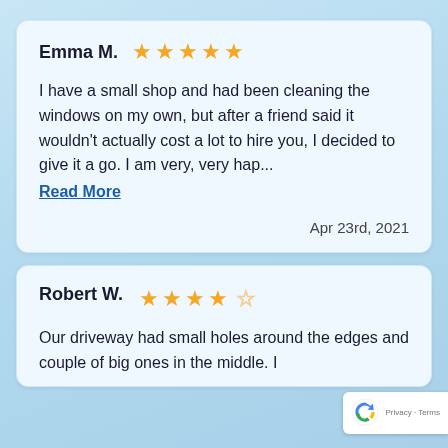Emma M. ★★★★★
I have a small shop and had been cleaning the windows on my own, but after a friend said it wouldn't actually cost a lot to hire you, I decided to give it a go. I am very, very hap...
Read More
Apr 23rd, 2021
Robert W. ★★★★☆
Our driveway had small holes around the edges and couple of big ones in the middle. I